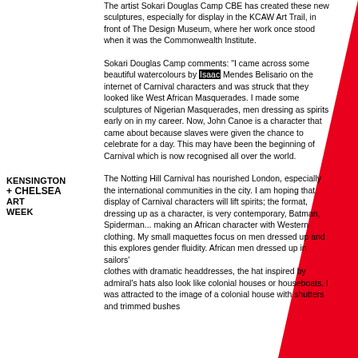[Figure (illustration): Red triangle shape in the top-right corner of the page]
KENSINGTON
+ CHELSEA
ART
WEEK
The artist Sokari Douglas Camp CBE has created these new sculptures, especially for display in the KCAW Art Trail, in front of The Design Museum, where her work once stood when it was the Commonwealth Institute.
Sokari Douglas Camp comments: "I came across some beautiful watercolours by Isaac Mendes Belisario on the internet of Carnival characters and was struck that they looked like West African Masquerades. I made some sculptures of Nigerian Masquerades, men dressing as spirits early on in my career. Now, John Canoe is a character that came about because slaves were given the chance to celebrate for a day. This may have been the beginning of Carnival which is now recognised all over the world.
The Notting Hill Carnival has nourished London, especially the international communities in the city. I am hoping that display of Carnival characters will lift spirits; the format, dressing up as a character, is very contemporary, Batman, Spiderman... making an African character with Western clothing. My small maquettes focus on men dressed up and this explores gender fluidity. African men dressed up in sailors'
clothes with dramatic headdresses, the hat inspired by admiral's hats also look like colonial houses or houseboats. I was attracted to the image of a colonial house with shutters and trimmed bushes